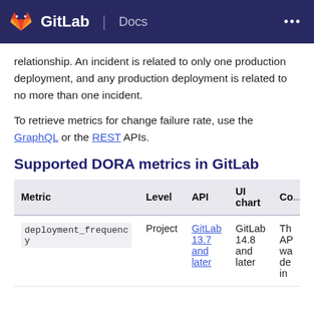GitLab Docs
relationship. An incident is related to only one production deployment, and any production deployment is related to no more than one incident.
To retrieve metrics for change failure rate, use the GraphQL or the REST APIs.
Supported DORA metrics in GitLab
| Metric | Level | API | UI chart | Co... |
| --- | --- | --- | --- | --- |
| deployment_frequency | Project | GitLab 13.7 and later | GitLab 14.8 and later | Th... AP... wa... de... in... |